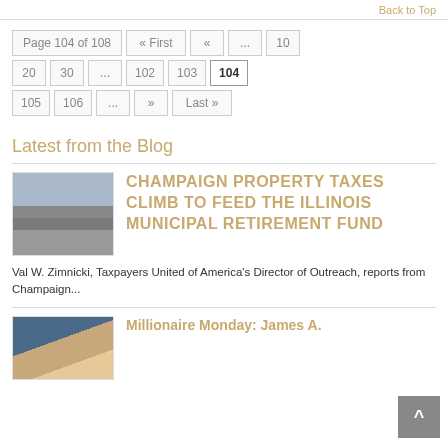Back to Top
Page 104 of 108  « First  «  ...  10  20  30  ...  102  103  104  105  106  ...  »  Last »
Latest from the Blog
[Figure (photo): Street scene photo thumbnail]
CHAMPAIGN PROPERTY TAXES CLIMB TO FEED THE ILLINOIS MUNICIPAL RETIREMENT FUND
Val W. Zimnicki, Taxpayers United of America's Director of Outreach, reports from Champaign...
[Figure (photo): Portrait photo thumbnail of a person]
Millionaire Monday: James A.